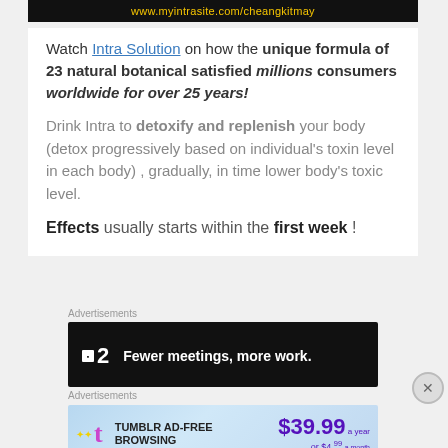[Figure (screenshot): Top banner with yellow URL text on dark background: www.myintrasite.com/cheangkitmay]
Watch Intra Solution on how the unique formula of 23 natural botanical satisfied millions consumers worldwide for over 25 years!
Drink Intra to detoxify and replenish your body (detox progressively based on individual's toxin level in each body) , gradually, in time lower body's toxic level.
Effects usually starts within the first week !
Advertisements
[Figure (screenshot): Dark banner ad: Twist logo with text 'Fewer meetings, more work.']
Advertisements
[Figure (screenshot): Tumblr ad-free browsing: $39.99 a year or $4.99 a month]